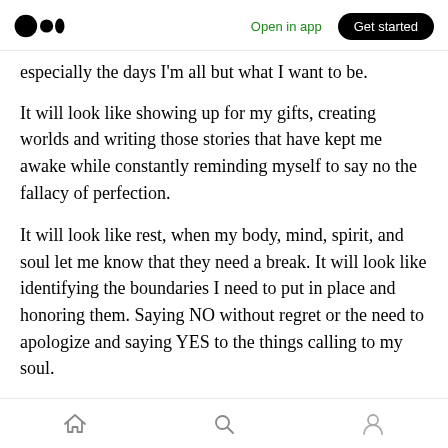Medium logo | Open in app | Get started
especially the days I'm all but what I want to be.
It will look like showing up for my gifts, creating worlds and writing those stories that have kept me awake while constantly reminding myself to say no the fallacy of perfection.
It will look like rest, when my body, mind, spirit, and soul let me know that they need a break. It will look like identifying the boundaries I need to put in place and honoring them. Saying NO without regret or the need to apologize and saying YES to the things calling to my soul.
Home | Search | Profile